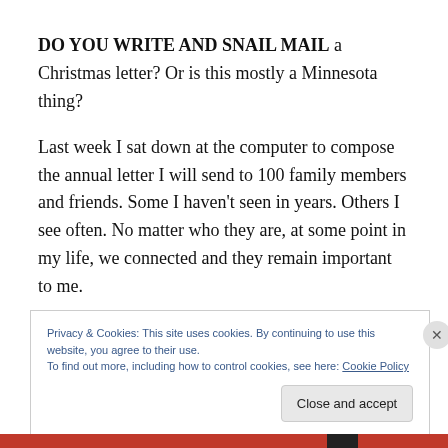DO YOU WRITE AND SNAIL MAIL a Christmas letter? Or is this mostly a Minnesota thing?
Last week I sat down at the computer to compose the annual letter I will send to 100 family members and friends. Some I haven't seen in years. Others I see often. No matter who they are, at some point in my life, we connected and they remain important to me.
Privacy & Cookies: This site uses cookies. By continuing to use this website, you agree to their use.
To find out more, including how to control cookies, see here: Cookie Policy
Close and accept